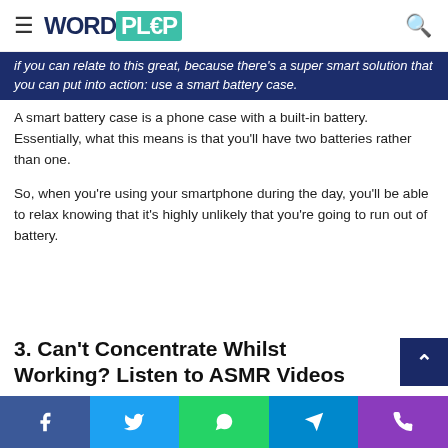WORDPLOP (logo/navigation bar)
if you can relate to this great, because there's a super smart solution that you can put into action: use a smart battery case.
A smart battery case is a phone case with a built-in battery. Essentially, what this means is that you'll have two batteries rather than one.
So, when you're using your smartphone during the day, you'll be able to relax knowing that it's highly unlikely that you're going to run out of battery.
3. Can't Concentrate Whilst Working? Listen to ASMR Videos
Social share bar: Facebook, Twitter, WhatsApp, Telegram, Phone